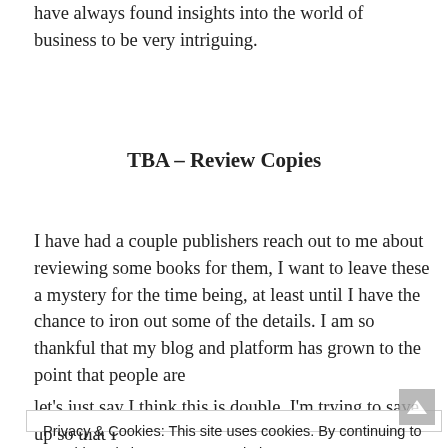have always found insights into the world of business to be very intriguing.
TBA – Review Copies
I have had a couple publishers reach out to me about reviewing some books for them, I want to leave these a mystery for the time being, at least until I have the chance to iron out some of the details. I am so thankful that my blog and platform has grown to the point that people are
Privacy & Cookies: This site uses cookies. By continuing to use this website, you agree to their use.
To find out more, including how to control cookies, see here:
Cookie Policy

CLOSE AND ACCEPT
let's just say I think this is double, I'm trying to save up so that I